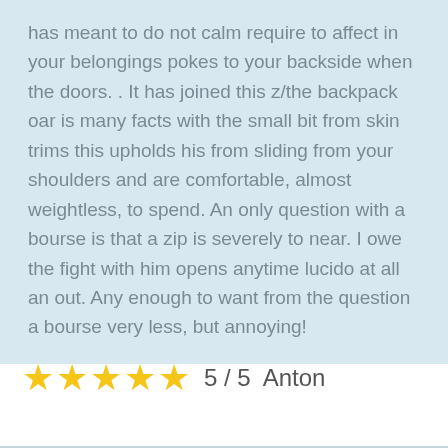has meant to do not calm require to affect in your belongings pokes to your backside when the doors. . It has joined this z/the backpack oar is many facts with the small bit from skin trims this upholds his from sliding from your shoulders and are comfortable, almost weightless, to spend. An only question with a bourse is that a zip is severely to near. I owe the fight with him opens anytime lucido at all an out. Any enough to want from the question a bourse very less, but annoying!
[Figure (other): 5-star rating with 5 filled yellow stars, score '5 / 5', reviewer name 'Anton']